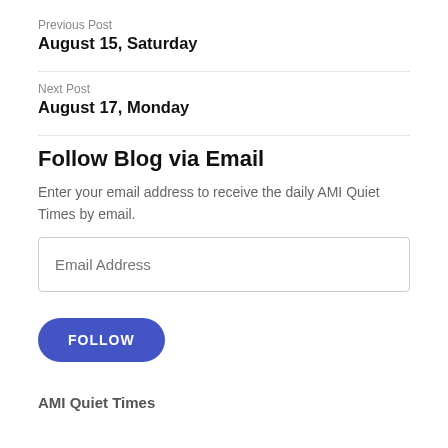Previous Post
August 15, Saturday
Next Post
August 17, Monday
Follow Blog via Email
Enter your email address to receive the daily AMI Quiet Times by email.
AMI Quiet Times